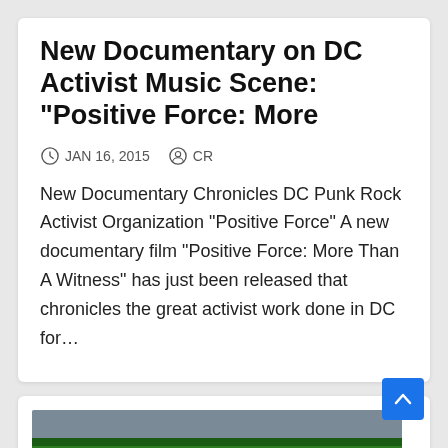New Documentary on DC Activist Music Scene: “Positive Force: More
JAN 16, 2015   CR
New Documentary Chronicles DC Punk Rock Activist Organization “Positive Force” A new documentary film “Positive Force: More Than A Witness” has just been released that chronicles the great activist work done in DC for…
[Figure (photo): Cartoon character with green hat and large eyes, holding a sign that reads LABEL GMO, photographed against a building backdrop.]